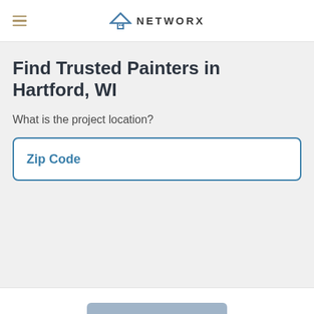NETWORX
Find Trusted Painters in Hartford, WI
What is the project location?
Zip Code
Next